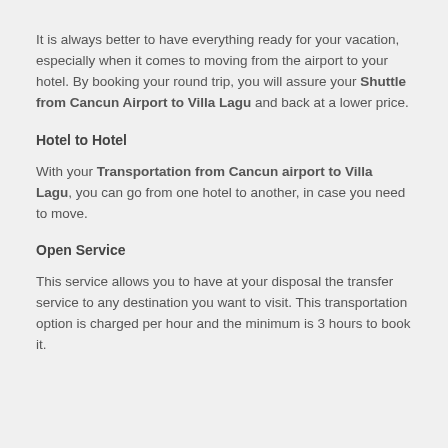It is always better to have everything ready for your vacation, especially when it comes to moving from the airport to your hotel. By booking your round trip, you will assure your Shuttle from Cancun Airport to Villa Lagu and back at a lower price.
Hotel to Hotel
With your Transportation from Cancun airport to Villa Lagu, you can go from one hotel to another, in case you need to move.
Open Service
This service allows you to have at your disposal the transfer service to any destination you want to visit. This transportation option is charged per hour and the minimum is 3 hours to book it.